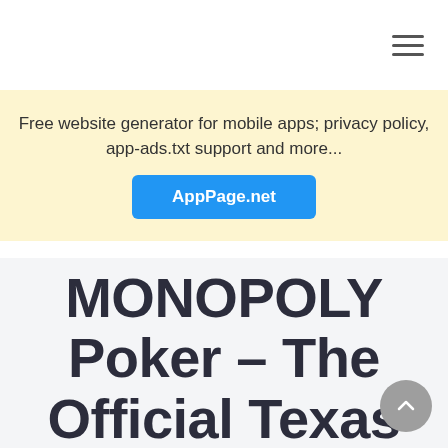≡
Free website generator for mobile apps; privacy policy, app-ads.txt support and more... AppPage.net
MONOPOLY Poker – The Official Texas Holdem Online